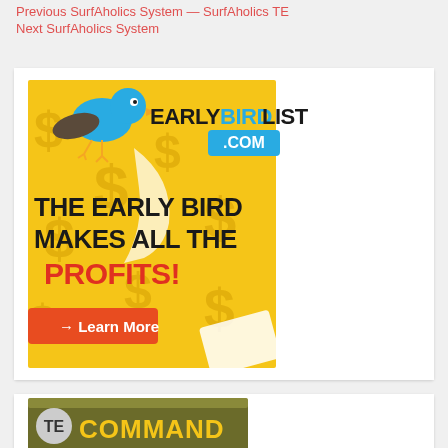Previous SurfAholics System — SurfAholics TE
Next SurfAholics System
[Figure (illustration): EarlyBirdList.com advertisement banner. Blue bird mascot at top, text 'THE EARLY BIRD MAKES ALL THE PROFITS!' in black bold text, 'PROFITS!' in red, gold/yellow background with dollar signs, orange 'Learn More' button with arrow, .COM badge in blue.]
[Figure (illustration): TE Command advertisement banner showing partial logo with gold and dark olive/brown color scheme, partially visible at bottom of page.]